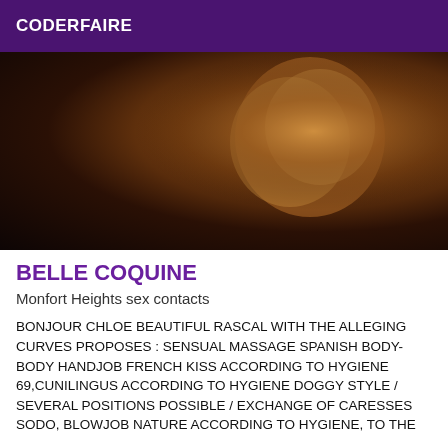CODERFAIRE
[Figure (photo): Dark close-up photograph with warm golden-brown tones, showing curved shapes against a dark background]
BELLE COQUINE
Monfort Heights sex contacts
BONJOUR CHLOE BEAUTIFUL RASCAL WITH THE ALLEGING CURVES PROPOSES : SENSUAL MASSAGE SPANISH BODY-BODY HANDJOB FRENCH KISS ACCORDING TO HYGIENE 69,CUNILINGUS ACCORDING TO HYGIENE DOGGY STYLE / SEVERAL POSITIONS POSSIBLE / EXCHANGE OF CARESSES SODO, BLOWJOB NATURE ACCORDING TO HYGIENE, TO THE